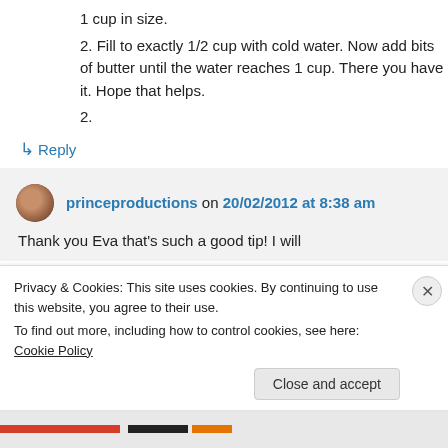1 cup in size.
2. Fill to exactly 1/2 cup with cold water. Now add bits of butter until the water reaches 1 cup. There you have it. Hope that helps.
2.
↳ Reply
princeproductions on 20/02/2012 at 8:38 am
Thank you Eva that's such a good tip! I will
Privacy & Cookies: This site uses cookies. By continuing to use this website, you agree to their use.
To find out more, including how to control cookies, see here: Cookie Policy
Close and accept